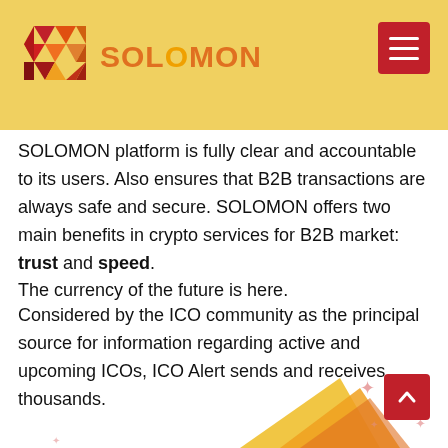[Figure (logo): SOLOMON hexagonal logo with red, orange, and yellow facets, next to orange text 'SOLOMON']
SOLOMON platform is fully clear and accountable to its users. Also ensures that B2B transactions are always safe and secure. SOLOMON offers two main benefits in crypto services for B2B market: trust and speed. The currency of the future is here.
Considered by the ICO community as the principal source for information regarding active and upcoming ICOs, ICO Alert sends and receives thousands.